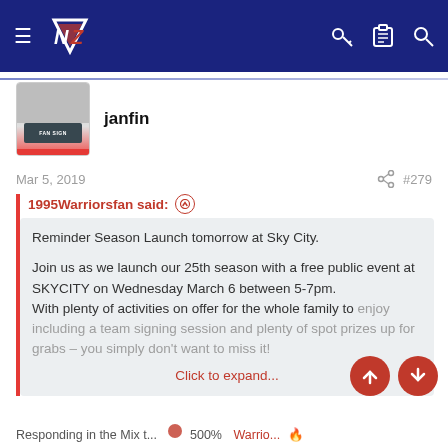[Figure (screenshot): Navigation bar with hamburger menu, NZ Warriors logo, key icon, clipboard icon, and search icon on dark blue background]
janfin
Mar 5, 2019
#279
1995Warriorsfan said: ↑
Reminder Season Launch tomorrow at Sky City.

Join us as we launch our 25th season with a free public event at SKYCITY on Wednesday March 6 between 5-7pm.
With plenty of activities on offer for the whole family to enjoy including a team signing session and plenty of spot prizes up for grabs – you simply don't want to miss it!
Click to expand...
Responding in the Mix t...